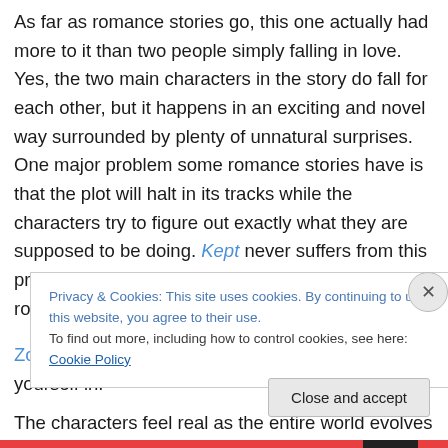As far as romance stories go, this one actually had more to it than two people simply falling in love. Yes, the two main characters in the story do fall for each other, but it happens in an exciting and novel way surrounded by plenty of unnatural surprises. One major problem some romance stories have is that the plot will halt in its tracks while the characters try to figure out exactly what they are supposed to be doing. Kept never suffers from this problem as the plot moves in lockstep with the romance.

Zoe has created a fascinating world to lose yourself in.

The characters feel real as the entire world evolves
Privacy & Cookies: This site uses cookies. By continuing to use this website, you agree to their use.
To find out more, including how to control cookies, see here: Cookie Policy
Close and accept